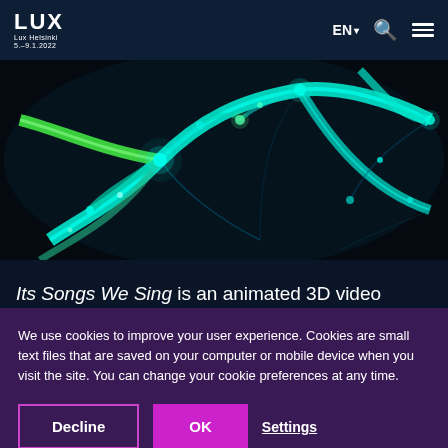LUX Lux Helsinki 5.-9.1.2022  EN  [search] [menu]
[Figure (illustration): Animated 3D rendering of glowing cyan and green neural network / neurons on a dark black background, showing branching dendrites and synapse connection points with bioluminescent glow effects.]
Its Songs We Sing is an animated 3D video
We use cookies to improve your user experience. Cookies are small text files that are saved on your computer or mobile device when you visit the site. You can change your cookie preferences at any time.
Decline  OK  Settings